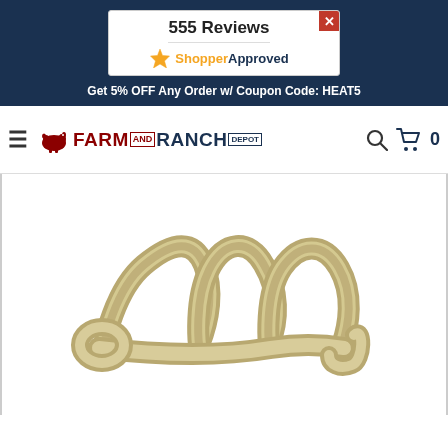555 Reviews
ShopperApproved
Get 5% OFF Any Order w/ Coupon Code: HEAT5
[Figure (logo): Farm and Ranch Depot logo with cow icon, hamburger menu, search icon, and cart icon showing 0 items]
[Figure (photo): Metal compression coil spring, silver/chrome colored, viewed from the side showing multiple coils]